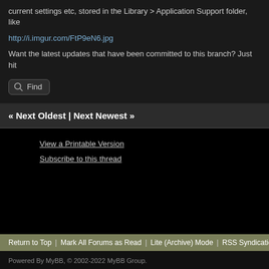current settings etc, stored in the Library > Application Support folder, like
http://i.imgur.com/FtP9eN6.jpg
Want the latest updates that have been committed to this branch? Just hit
Find
« Next Oldest | Next Newest »
View a Printable Version
Subscribe to this thread
Return to Top | Mark All Forums as Read | Lite (Archive) Mode | RSS Syndication | List o
Powered By MyBB, © 2002-2022 MyBB Group.